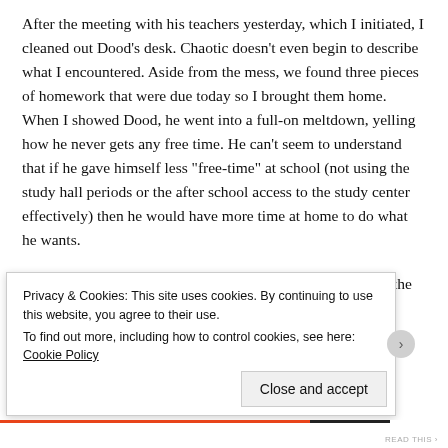After the meeting with his teachers yesterday, which I initiated, I cleaned out Dood's desk. Chaotic doesn't even begin to describe what I encountered. Aside from the mess, we found three pieces of homework that were due today so I brought them home. When I showed Dood, he went into a full-on meltdown, yelling how he never gets any free time. He can't seem to understand that if he gave himself less "free-time" at school (not using the study hall periods or the after school access to the study center effectively) then he would have more time at home to do what he wants.
Last night was also suppose to be the parent's meeting with the music store to talk about the band, orchestra and rentals,
Privacy & Cookies: This site uses cookies. By continuing to use this website, you agree to their use.
To find out more, including how to control cookies, see here: Cookie Policy
Close and accept